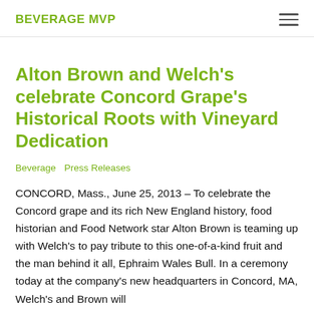BEVERAGE MVP
Alton Brown and Welch's celebrate Concord Grape's Historical Roots with Vineyard Dedication
Beverage  Press Releases
CONCORD, Mass., June 25, 2013 – To celebrate the Concord grape and its rich New England history, food historian and Food Network star Alton Brown is teaming up with Welch's to pay tribute to this one-of-a-kind fruit and the man behind it all, Ephraim Wales Bull. In a ceremony today at the company's new headquarters in Concord, MA, Welch's and Brown will